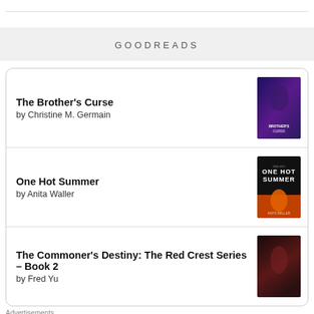GOODREADS
The Brother's Curse by Christine M. Germain
One Hot Summer by Anita Waller
The Commoner's Destiny: The Red Crest Series – Book 2 by Fred Yu
Advertisements
[Figure (screenshot): Day One journaling app advertisement banner with text 'The only journaling app you'll ever need.']